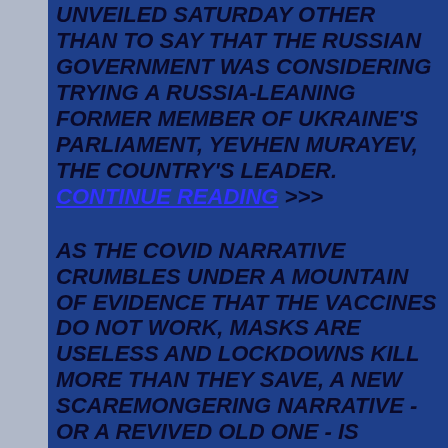UNVEILED SATURDAY OTHER THAN TO SAY THAT THE RUSSIAN GOVERNMENT WAS CONSIDERING TRYING A RUSSIA-LEANING FORMER MEMBER OF UKRAINE'S PARLIAMENT, YEVHEN MURAYEV, THE COUNTRY'S LEADER. CONTINUE READING >>>
AS THE COVID NARRATIVE CRUMBLES UNDER A MOUNTAIN OF EVIDENCE THAT THE VACCINES DO NOT WORK, MASKS ARE USELESS AND LOCKDOWNS KILL MORE THAN THEY SAVE, A NEW SCAREMONGERING NARRATIVE - OR A REVIVED OLD ONE - IS EMERGING AS THE THREAT OF WAR WITH RUSSIA IS THE LATEST FEAR AND PANIC VEHICLE TO SCARE PEOPLE INTO COMPLIANCE WITH TYRANNY. CONTINUE READING >>>
CURRENCY WARS - NOW THE EURO CHALLENGES THE MIGHTY DOLLAR